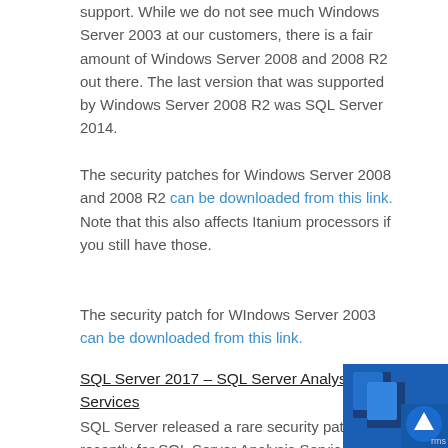support. While we do not see much Windows Server 2003 at our customers, there is a fair amount of Windows Server 2008 and 2008 R2 out there. The last version that was supported by Windows Server 2008 R2 was SQL Server 2014.
The security patches for Windows Server 2008 and 2008 R2 can be downloaded from this link. Note that this also affects Itanium processors if you still have those.
The security patch for WIndows Server 2003 can be downloaded from this link.
SQL Server 2017 – SQL Server Analysis Services
SQL Server released a rare security patch recently for SQL Server Analysis Services